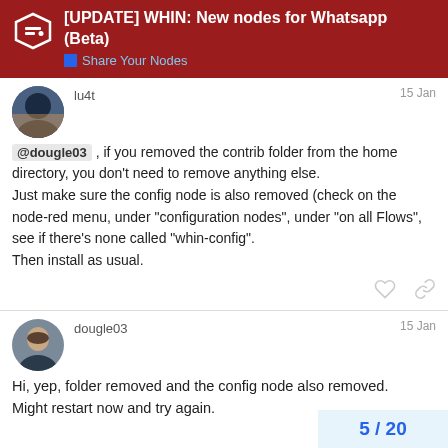[UPDATE] WHIN: New nodes for Whatsapp (Beta) — Share Your Nodes
lu4t  15 Jan
@dougle03 , if you removed the contrib folder from the home directory, you don't need to remove anything else. Just make sure the config node is also removed (check on the node-red menu, under "configuration nodes", under "on all Flows", see if there's none called "whin-config". Then install as usual.
dougle03  15 Jan
Hi, yep, folder removed and the config node also removed. Might restart now and try again.
5 / 20